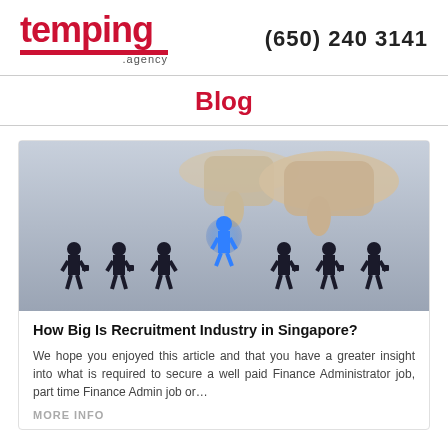temping .agency | (650) 240 3141
Blog
[Figure (photo): A hand in a suit pointing down at a glowing blue human figure surrounded by dark silhouette figures, representing recruitment selection.]
How Big Is Recruitment Industry in Singapore?
We hope you enjoyed this article and that you have a greater insight into what is required to secure a well paid Finance Administrator job, part time Finance Admin job or…
MORE INFO